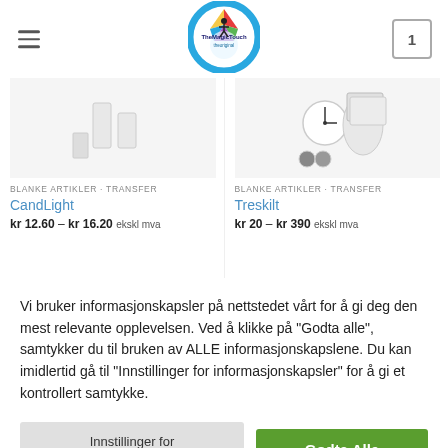[Figure (logo): TheMagicTouch circular logo with colorful design]
[Figure (photo): CandLight product image showing white candle items]
BLANKE ARTIKLER · TRANSFER
CandLight
kr 12.60 – kr 16.20 ekskl mva
[Figure (photo): Treskilt product image showing wooden clock and accessories]
BLANKE ARTIKLER · TRANSFER
Treskilt
kr 20 – kr 390 ekskl mva
Vi bruker informasjonskapsler på nettstedet vårt for å gi deg den mest relevante opplevelsen. Ved å klikke på "Godta alle", samtykker du til bruken av ALLE informasjonskapslene. Du kan imidlertid gå til "Innstillinger for informasjonskapsler" for å gi et kontrollert samtykke.
Innstillinger for informasjonskapsler
Godta Alle